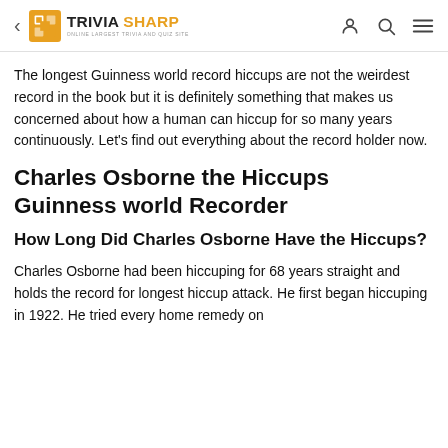< TRIVIA SHARP ONLINE LARGEST TRIVIA AND QUIZ SITE
The longest Guinness world record hiccups are not the weirdest record in the book but it is definitely something that makes us concerned about how a human can hiccup for so many years continuously. Let's find out everything about the record holder now.
Charles Osborne the Hiccups Guinness world Recorder
How Long Did Charles Osborne Have the Hiccups?
Charles Osborne had been hiccuping for 68 years straight and holds the record for longest hiccup attack. He first began hiccuping in 1922. He tried every home remedy on